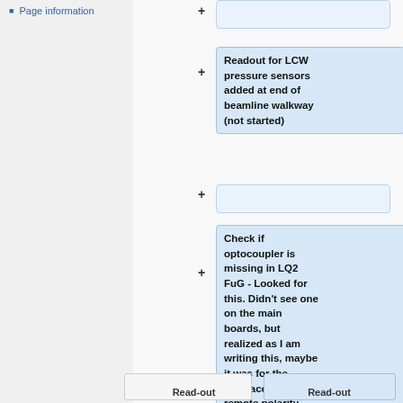Page information
Readout for LCW pressure sensors added at end of beamline walkway (not started)
Check if optocoupler is missing in LQ2 FuG - Looked for this. Didn't see one on the main boards, but realized as I am writing this, maybe it was for the interface for remote polarity switching? --Ellen